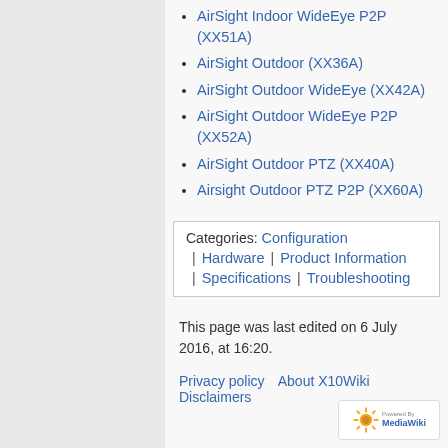AirSight Indoor WideEye P2P (XX51A)
AirSight Outdoor (XX36A)
AirSight Outdoor WideEye (XX42A)
AirSight Outdoor WideEye P2P (XX52A)
AirSight Outdoor PTZ (XX40A)
Airsight Outdoor PTZ P2P (XX60A)
Categories: Configuration | Hardware | Product Information | Specifications | Troubleshooting
This page was last edited on 6 July 2016, at 16:20.
Privacy policy   About X10Wiki   Disclaimers